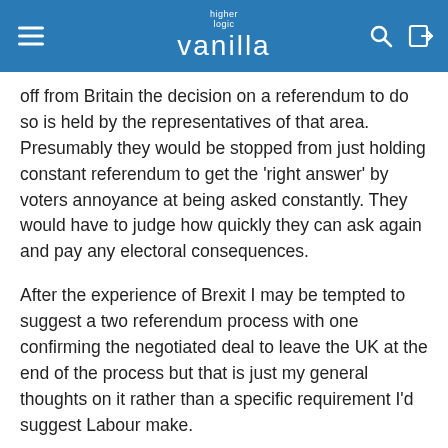higher logic vanilla
off from Britain the decision on a referendum to do so is held by the representatives of that area. Presumably they would be stopped from just holding constant referendum to get the 'right answer' by voters annoyance at being asked constantly. They would have to judge how quickly they can ask again and pay any electoral consequences.
After the experience of Brexit I may be tempted to suggest a two referendum process with one confirming the negotiated deal to leave the UK at the end of the process but that is just my general thoughts on it rather than a specific requirement I'd suggest Labour make.
HYUFD  Posts: 101,435